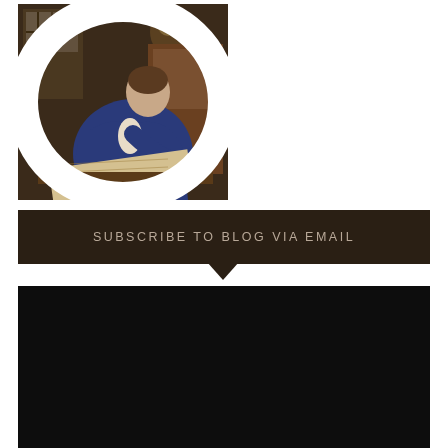[Figure (photo): Circular portrait image showing a classical painting of a scholar or geographer in a blue robe, leaning over a table studying maps or documents, with a window in the background. Resembles Vermeer's 'The Geographer'.]
SUBSCRIBE TO BLOG VIA EMAIL
Enter your email address to subscribe to this blog and receive notifications of new posts by email.
Enter your email address